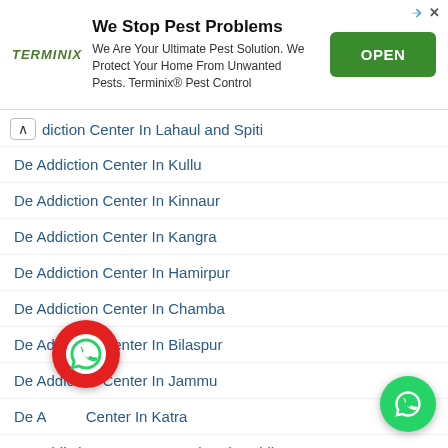[Figure (screenshot): Terminix advertisement banner with logo, text 'We Stop Pest Problems', description about pest control, and green OPEN button]
diction Center In Lahaul and Spiti
De Addiction Center In Kullu
De Addiction Center In Kinnaur
De Addiction Center In Kangra
De Addiction Center In Hamirpur
De Addiction Center In Chamba
De Addiction Center In Bilaspur
De Addiction Center In Jammu
De Addiction Center In Katra
De Addiction Center In Fatehgarh Sahib
De Addiction Center In Sangrur